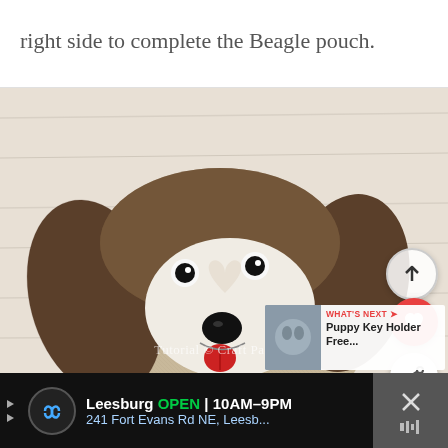right side to complete the Beagle pouch.
[Figure (photo): A handmade fabric Beagle dog face pouch/plushie made from brown and beige tweed fabric, with black button eyes, a black nose, white felt muzzle area with a heart shape, and a small red fabric tongue. The pouch sits on a white-painted wooden surface. Overlaid UI elements include a heart (like) button, a share button, an up-arrow button, and a 'What's Next' promotional card for 'Puppy Key Holder Free...' in the bottom right corner. A watermark reads 'Tutorial © Craft Passion'.]
Leesburg  OPEN  10AM–9PM  241 Fort Evans Rd NE, Leesb...